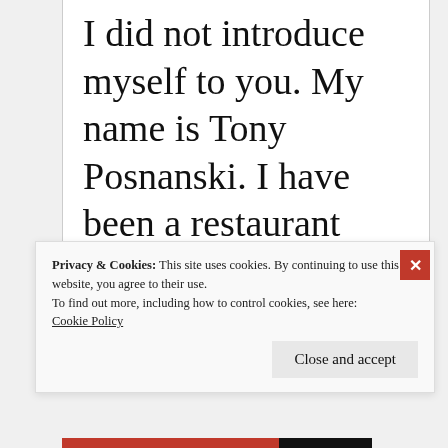I did not introduce myself to you. My name is Tony Posnanski. I have been a restaurant manager for fifteen years now.
Privacy & Cookies: This site uses cookies. By continuing to use this website, you agree to their use.
To find out more, including how to control cookies, see here:
Cookie Policy